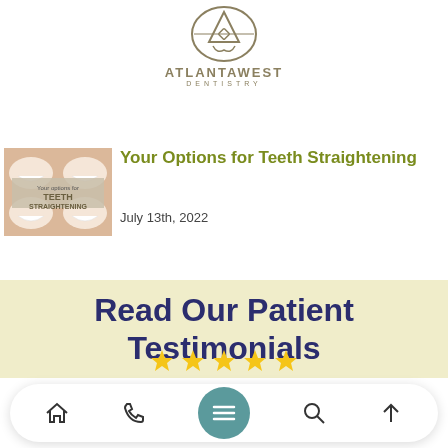[Figure (logo): Atlanta West Dentistry logo with circular emblem and stylized 'A' mark above text]
[Figure (photo): Thumbnail image showing multiple smiling mouths with text 'Your options for TEETH STRAIGHTENING']
Your Options for Teeth Straightening
July 13th, 2022
Read Our Patient Testimonials
[Figure (other): Partial row of gold/yellow star rating icons]
Navigation bar with home, phone, menu, search, and scroll-up icons